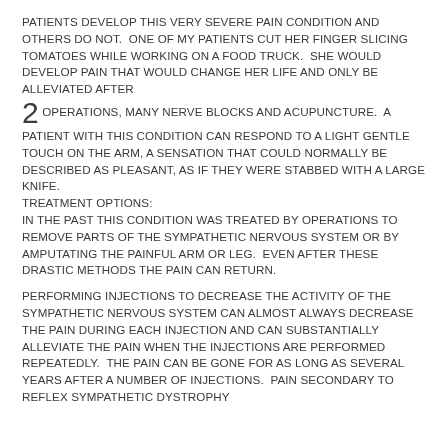PATIENTS DEVELOP THIS VERY SEVERE PAIN CONDITION AND OTHERS DO NOT. ONE OF MY PATIENTS CUT HER FINGER SLICING TOMATOES WHILE WORKING ON A FOOD TRUCK. SHE WOULD DEVELOP PAIN THAT WOULD CHANGE HER LIFE AND ONLY BE ALLEVIATED AFTER 2 OPERATIONS, MANY NERVE BLOCKS AND ACUPUNCTURE. A PATIENT WITH THIS CONDITION CAN RESPOND TO A LIGHT GENTLE TOUCH ON THE ARM, A SENSATION THAT COULD NORMALLY BE DESCRIBED AS PLEASANT, AS IF THEY WERE STABBED WITH A LARGE KNIFE. TREATMENT OPTIONS: IN THE PAST THIS CONDITION WAS TREATED BY OPERATIONS TO REMOVE PARTS OF THE SYMPATHETIC NERVOUS SYSTEM OR BY AMPUTATING THE PAINFUL ARM OR LEG. EVEN AFTER THESE DRASTIC METHODS THE PAIN CAN RETURN.
PERFORMING INJECTIONS TO DECREASE THE ACTIVITY OF THE SYMPATHETIC NERVOUS SYSTEM CAN ALMOST ALWAYS DECREASE THE PAIN DURING EACH INJECTION AND CAN SUBSTANTIALLY ALLEVIATE THE PAIN WHEN THE INJECTIONS ARE PERFORMED REPEATEDLY. THE PAIN CAN BE GONE FOR AS LONG AS SEVERAL YEARS AFTER A NUMBER OF INJECTIONS. PAIN SECONDARY TO REFLEX SYMPATHETIC DYSTROPHY